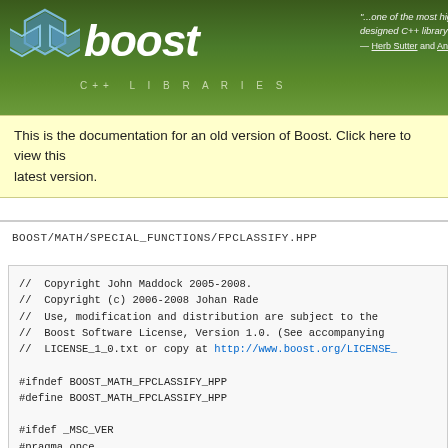[Figure (logo): Boost C++ Libraries logo with hexagon icon and italic 'boost' text on dark green gradient background]
"...one of the most highly regarded designed C++ library projects — Herb Sutter and Andrei Alexandrescu
This is the documentation for an old version of Boost. Click here to view this latest version.
BOOST/MATH/SPECIAL_FUNCTIONS/FPCLASSIFY.HPP
//  Copyright John Maddock 2005-2008.
//  Copyright (c) 2006-2008 Johan Rade
//  Use, modification and distribution are subject to the
//  Boost Software License, Version 1.0. (See accompanying
//  LICENSE_1_0.txt or copy at http://www.boost.org/LICENSE_

#ifndef BOOST_MATH_FPCLASSIFY_HPP
#define BOOST_MATH_FPCLASSIFY_HPP

#ifdef _MSC_VER
#pragma once
#endif

#include <limits>
#include <type_traits>
#include <cmath>
#include <boost/math/tools/real_cast.hpp>
#include <boost/math/special_functions/math_fwd.hpp>
#include <boost/math/special_functions/detail/fp_traits.hpp>